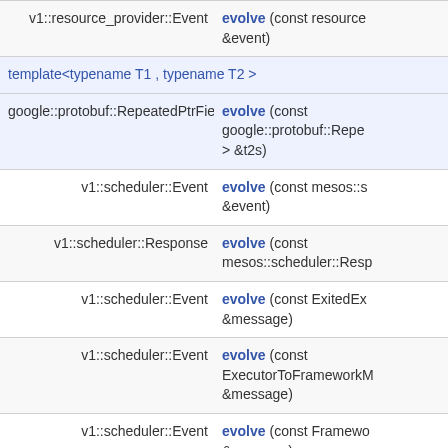| Return type | Function signature |
| --- | --- |
| v1::resource_provider::Event | evolve (const resource... &event) |
| template<typename T1 , typename T2 > google::protobuf::RepeatedPtrField< T1 > | evolve (const google::protobuf::Repe... > &t2s) |
| v1::scheduler::Event | evolve (const mesos::s... &event) |
| v1::scheduler::Response | evolve (const mesos::scheduler::Resp... |
| v1::scheduler::Event | evolve (const ExitedEx... &message) |
| v1::scheduler::Event | evolve (const ExecutorToFrameworkM... &message) |
| v1::scheduler::Event | evolve (const Framewo... &message) |
| v1::scheduler::Event | evolve (const FrameworkRegisteredM... &message) |